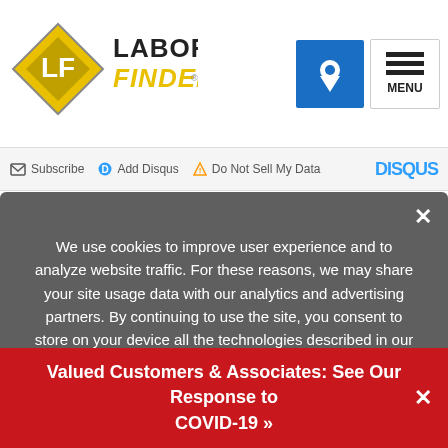[Figure (logo): Labor Finders logo with diamond LF icon and yellow/black text]
Subscribe  Add Disqus  Do Not Sell My Data  DISQUS
We use cookies to improve user experience and to analyze website traffic. For these reasons, we may share your site usage data with our analytics and advertising partners. By continuing to use the site, you consent to store on your device all the technologies described in our Cookie Policy. You can change your cookie settings at any time by clicking "Cookie Preferences" in your browser settings. Please read our Terms and Conditions and Privacy Policy for full details.
Valued Customers & Associates: See Our Response to COVID-19 »